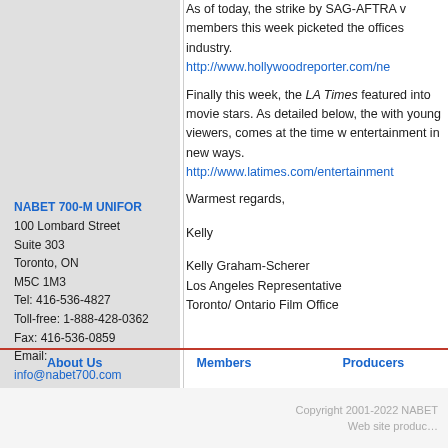As of today, the strike by SAG-AFTRA v... members this week picketed the offices... industry. http://www.hollywoodreporter.com/ne...
Finally this week, the LA Times featured... into movie stars. As detailed below, the... with young viewers, comes at the time w... entertainment in new ways. http://www.latimes.com/entertainment...
Warmest regards,

Kelly

Kelly Graham-Scherer
Los Angeles Representative
Toronto/ Ontario Film Office
NABET 700-M UNIFOR
100 Lombard Street
Suite 303
Toronto, ON
M5C 1M3
Tel: 416-536-4827
Toll-free: 1-888-428-0362
Fax: 416-536-0859
Email:
info@nabet700.com
About Us   Members   Producers
Copyright 2001-2022 NABET
Web site produc...